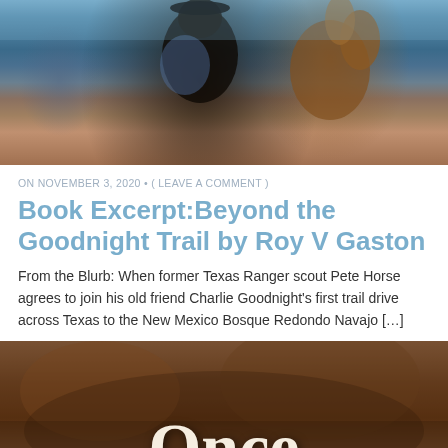[Figure (photo): A person on horseback, appearing to be a cowboy or scout on a dark horse, with a blue sky background. The figure wears a blue coat and dark hat.]
ON NOVEMBER 3, 2020 • ( LEAVE A COMMENT )
Book Excerpt:Beyond the Goodnight Trail by Roy V Gaston
From the Blurb: When former Texas Ranger scout Pete Horse agrees to join his old friend Charlie Goodnight's first trail drive across Texas to the New Mexico Bosque Redondo Navajo […]
[Figure (photo): A blurred rocky/earthy background with the word 'Once' in large white serif font at the bottom, appearing to be a book cover.]